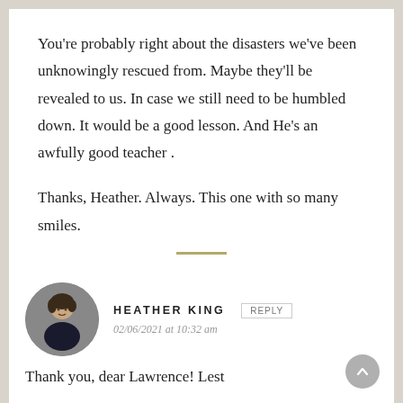You're probably right about the disasters we've been unknowingly rescued from. Maybe they'll be revealed to us. In case we still need to be humbled down. It would be a good lesson. And He's an awfully good teacher .
Thanks, Heather. Always. This one with so many smiles.
HEATHER KING
02/06/2021 at 10:32 am
Thank you, dear Lawrence! Lest